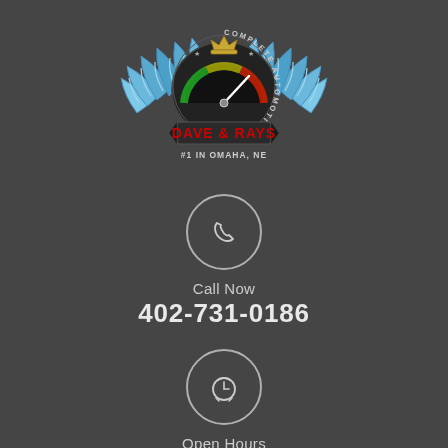[Figure (logo): Dave & Rays Complete Automotive Repair logo — winged speedometer shield with text DAVE & RAYS in red and #1 IN OMAHA, NE below]
[Figure (illustration): Phone handset icon inside a circle]
Call Now
402-731-0186
[Figure (illustration): Alarm clock icon inside a circle]
Open Hours
Monday - Friday 8:00 TO 5:30